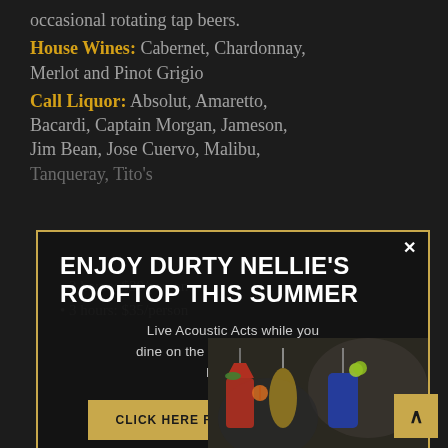occasional rotating tap beers.
House Wines: Cabernet, Chardonnay, Merlot and Pinot Grigio
Call Liquor: Absolut, Amaretto, Bacardi, Captain Morgan, Jameson, Jim Bean, Jose Cuervo, Malibu, Tanqueray, Tito's
2 hours: $30/person
3 hours: $35/person
ENJOY DURTY NELLIE'S ROOFTOP THIS SUMMER
Live Acoustic Acts while you dine on the best patio rooftop in Palatine.
CLICK HERE FOR UPCOMING ACTS
[Figure (photo): Photo of colorful cocktail drinks on a rooftop patio]
^